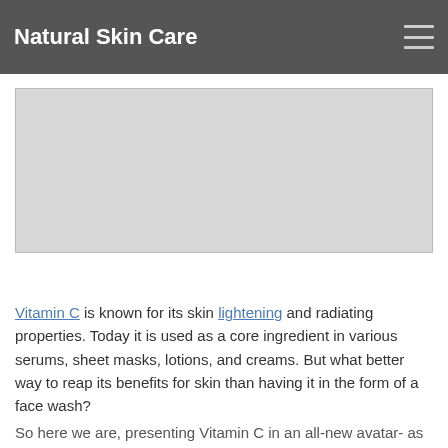Natural Skin Care
[Figure (other): Placeholder image area, light gray rectangle]
Vitamin C is known for its skin lightening and radiating properties. Today it is used as a core ingredient in various serums, sheet masks, lotions, and creams. But what better way to reap its benefits for skin than having it in the form of a face wash?
So here we are, presenting Vitamin C in an all-new avatar- as TNW Vitamin C Exfoliating Face Wash. With its launch, we have added